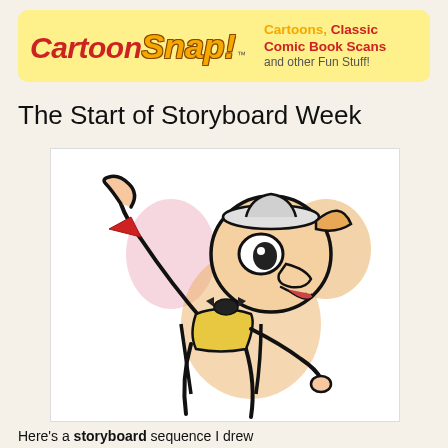[Figure (logo): CartoonSnap! logo banner — yellow rounded rectangle background with red italic 'Cartoon' text and orange italic 'Snap!' text, with tagline 'Cartoons, Classic Comic Book Scans and other Fun Stuff!']
The Start of Storyboard Week
[Figure (illustration): Colored cartoon storyboard sketch of an animated character (resembling Snagglepuss or similar Hanna-Barbera cat character) in a dynamic pose with one arm raised, wearing a tie and collar, drawn in loose marker/pen style with orange and pink coloring and bold black outlines.]
Here's a storyboard sequence I drew